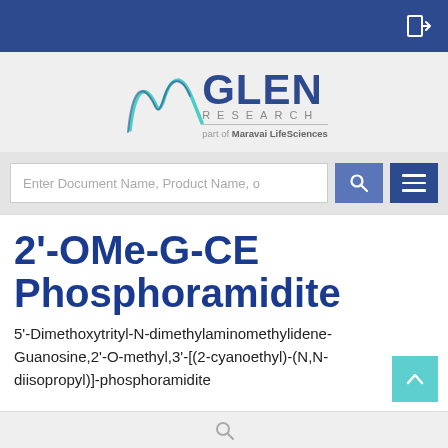Glen Research — part of Maravai LifeSciences
[Figure (logo): Glen Research logo with stylized M and GLEN RESEARCH text, part of Maravai LifeSciences]
2'-OMe-G-CE Phosphoramidite
5'-Dimethoxytrityl-N-dimethylaminomethylidene-Guanosine,2'-O-methyl,3'-[(2-cyanoethyl)-(N,N-diisopropyl)]-phosphoramidite